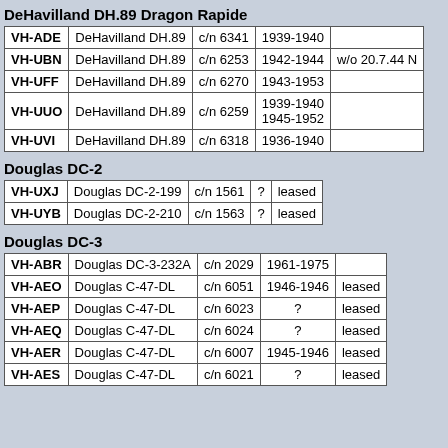DeHavilland DH.89 Dragon Rapide
| Reg | Type | c/n | Years | Notes |
| --- | --- | --- | --- | --- |
| VH-ADE | DeHavilland DH.89 | c/n 6341 | 1939-1940 |  |
| VH-UBN | DeHavilland DH.89 | c/n 6253 | 1942-1944 | w/o 20.7.44 N |
| VH-UFF | DeHavilland DH.89 | c/n 6270 | 1943-1953 |  |
| VH-UUO | DeHavilland DH.89 | c/n 6259 | 1939-1940 1945-1952 |  |
| VH-UVI | DeHavilland DH.89 | c/n 6318 | 1936-1940 |  |
Douglas DC-2
| Reg | Type | c/n | Years | Notes |
| --- | --- | --- | --- | --- |
| VH-UXJ | Douglas DC-2-199 | c/n 1561 | ? | leased |
| VH-UYB | Douglas DC-2-210 | c/n 1563 | ? | leased |
Douglas DC-3
| Reg | Type | c/n | Years | Notes |
| --- | --- | --- | --- | --- |
| VH-ABR | Douglas DC-3-232A | c/n 2029 | 1961-1975 |  |
| VH-AEO | Douglas C-47-DL | c/n 6051 | 1946-1946 | leased |
| VH-AEP | Douglas C-47-DL | c/n 6023 | ? | leased |
| VH-AEQ | Douglas C-47-DL | c/n 6024 | ? | leased |
| VH-AER | Douglas C-47-DL | c/n 6007 | 1945-1946 | leased |
| VH-AES | Douglas C-47-DL | c/n 6021 | ? | leased |